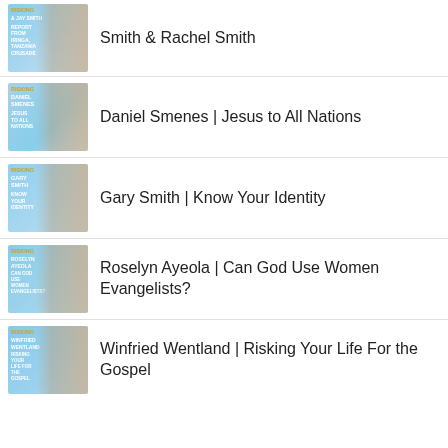Smith & Rachel Smith
Daniel Smenes | Jesus to All Nations
Gary Smith | Know Your Identity
Roselyn Ayeola | Can God Use Women Evangelists?
Winfried Wentland | Risking Your Life For the Gospel